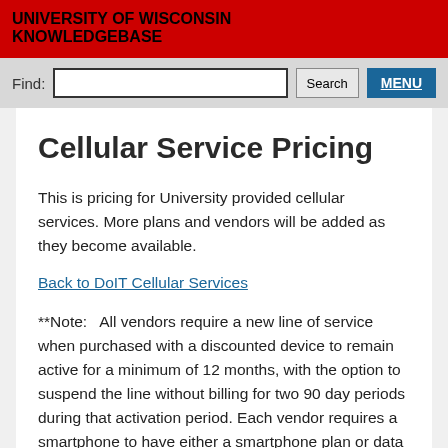UNIVERSITY OF WISCONSIN KNOWLEDGEBASE
[Figure (screenshot): Search bar with text input, Search button, and MENU button]
Cellular Service Pricing
This is pricing for University provided cellular services. More plans and vendors will be added as they become available.
Back to DoIT Cellular Services
**Note:   All vendors require a new line of service when purchased with a discounted device to remain active for a minimum of 12 months, with the option to suspend the line without billing for two 90 day periods during that activation period. Each vendor requires a smartphone to have either a smartphone plan or data plan